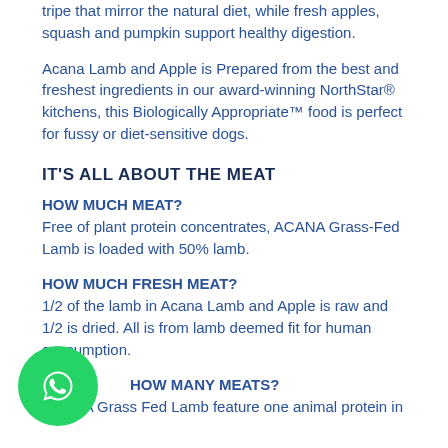tripe that mirror the natural diet, while fresh apples, squash and pumpkin support healthy digestion.
Acana Lamb and Apple is Prepared from the best and freshest ingredients in our award-winning NorthStar® kitchens, this Biologically Appropriate™ food is perfect for fussy or diet-sensitive dogs.
IT'S ALL ABOUT THE MEAT
HOW MUCH MEAT?
Free of plant protein concentrates, ACANA Grass-Fed Lamb is loaded with 50% lamb.
HOW MUCH FRESH MEAT?
1/2 of the lamb in Acana Lamb and Apple is raw and 1/2 is dried. All is from lamb deemed fit for human consumption.
HOW MANY MEATS?
ACANA Grass Fed Lamb feature one animal protein in